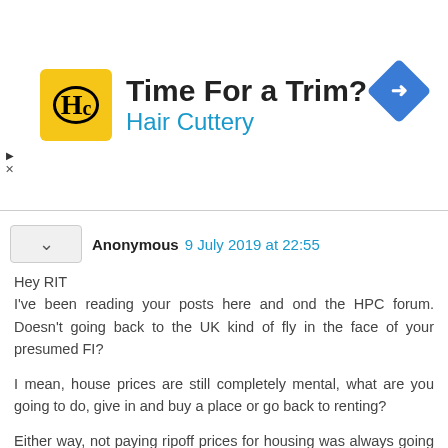[Figure (other): Hair Cuttery advertisement banner with yellow circular logo showing HC, title 'Time For a Trim?', subtitle 'Hair Cuttery', and a blue diamond navigation icon on the right]
Anonymous 9 July 2019 at 22:55
Hey RIT
I've been reading your posts here and ond the HPC forum. Doesn't going back to the UK kind of fly in the face of your presumed FI?

I mean, house prices are still completely mental, what are you going to do, give in and buy a place or go back to renting?

Either way, not paying ripoff prices for housing was always going to be an interal component of your grand plan, was it not?

What now?

Reply